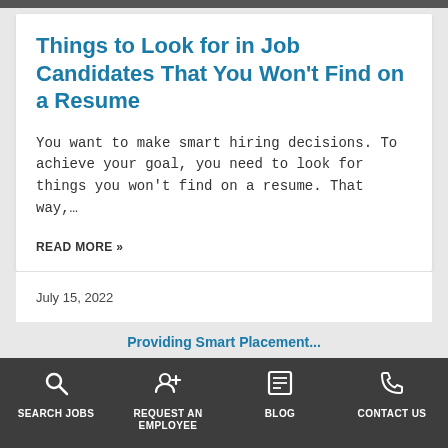Things to Look for in Job Candidates That You Won't Find on a Resume
You want to make smart hiring decisions. To achieve your goal, you need to look for things you won't find on a resume. That way,…
READ MORE »
July 15, 2022
SEARCH JOBS | REQUEST AN EMPLOYEE | BLOG | CONTACT US